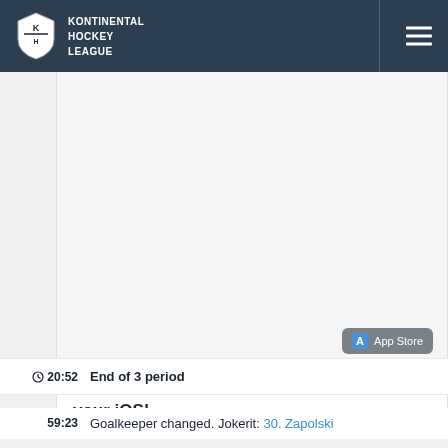KONTINENTAL HOCKEY LEAGUE
[Figure (screenshot): App Store advertisement for Raft Survival - Ocean Nomad iOS app]
Raft Survival – Ocean Nomad. Download on your iOS!
20:52  End of 3 period
59:23  Goalkeeper changed. Jokerit: 30. Zapolski